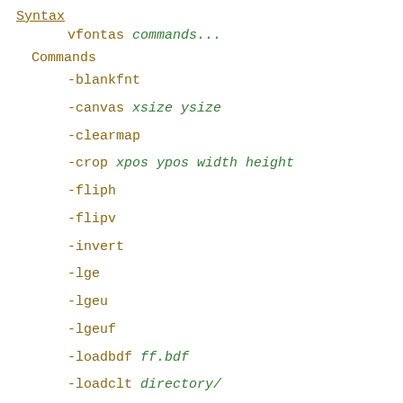Syntax
vfontas commands...
Commands
-blankfnt
-canvas xsize ysize
-clearmap
-crop xpos ypos width height
-fliph
-flipv
-invert
-lge
-lgeu
-lgeuf
-loadbdf ff.bdf
-loadclt directory/